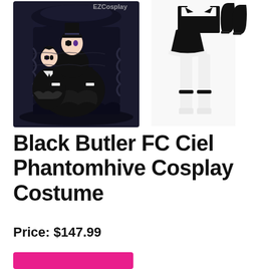[Figure (illustration): Product listing image for Black Butler FC Ciel Phantomhive Cosplay Costume. Left side shows anime-style illustration of two characters in elaborate black gothic lolita costumes seated on an ornate black throne/chair. Right side shows the actual costume pieces: a white and black dress with black shorts, white stockings with black ankle straps, and black gloves displayed separately. EZCosplay watermark visible at top center.]
Black Butler FC Ciel Phantomhive Cosplay Costume
Price: $147.99